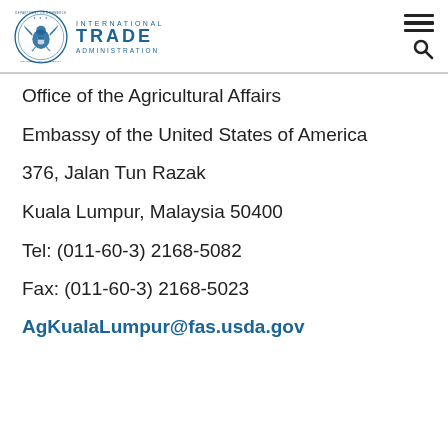International Trade Administration — Department of Commerce seal and navigation menu
Office of the Agricultural Affairs
Embassy of the United States of America
376, Jalan Tun Razak
Kuala Lumpur, Malaysia 50400
Tel: (011-60-3) 2168-5082
Fax: (011-60-3) 2168-5023
AgKualaLumpur@fas.usda.gov